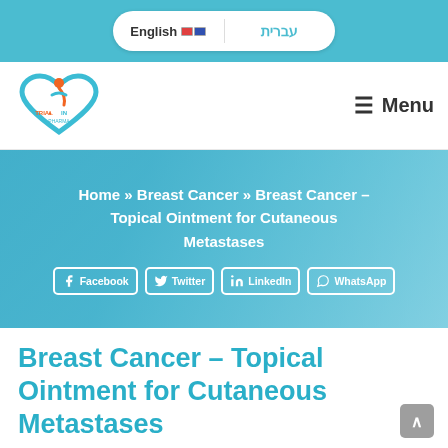English | עברית
[Figure (logo): Trial-In Pharma logo — a blue heart outline with an orange figure and the text TRIAL·IN PHARMA]
≡ Menu
Home » Breast Cancer » Breast Cancer – Topical Ointment for Cutaneous Metastases
Facebook | Twitter | LinkedIn | WhatsApp
Breast Cancer – Topical Ointment for Cutaneous Metastases